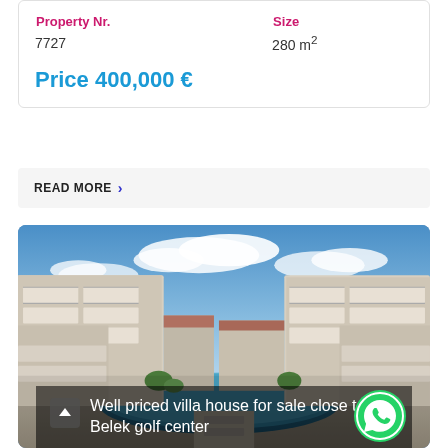| Property Nr. | Size |
| --- | --- |
| 7727 | 280 m² |
Price 400,000 €
READ MORE ›
[Figure (photo): Luxury apartment complex with pool, white modern buildings with balconies, blue sky with clouds, Belek golf area, Turkey]
Well priced villa house for sale close to Belek golf center